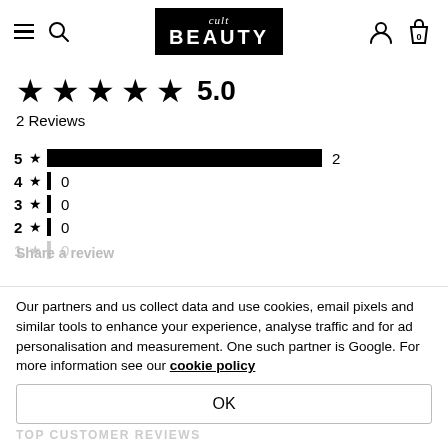cult BEAUTY — navigation header with menu, search, account, bag (0)
[Figure (other): 5-star rating display: five filled black stars followed by '5.0']
2 Reviews
[Figure (bar-chart): Rating distribution]
Our partners and us collect data and use cookies, email pixels and similar tools to enhance your experience, analyse traffic and for ad personalisation and measurement. One such partner is Google. For more information see our cookie policy
OK
TOP CUSTOMER REVIEWS